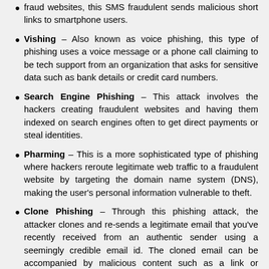fraud websites, this SMS fraudulent sends malicious short links to smartphone users.
Vishing – Also known as voice phishing, this type of phishing uses a voice message or a phone call claiming to be tech support from an organization that asks for sensitive data such as bank details or credit card numbers.
Search Engine Phishing – This attack involves the hackers creating fraudulent websites and having them indexed on search engines often to get direct payments or steal identities.
Pharming – This is a more sophisticated type of phishing where hackers reroute legitimate web traffic to a fraudulent website by targeting the domain name system (DNS), making the user's personal information vulnerable to theft.
Clone Phishing – Through this phishing attack, the attacker clones and re-sends a legitimate email that you've recently received from an authentic sender using a seemingly credible email id. The cloned email can be accompanied by malicious content such as a link or attachment, which when clicked will lead to the